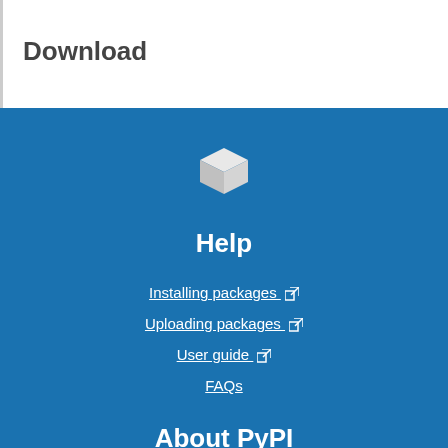Download
[Figure (logo): White 3D cube icon (PyPI logo) on blue background]
Help
Installing packages ↗
Uploading packages ↗
User guide ↗
FAQs
About PyPI